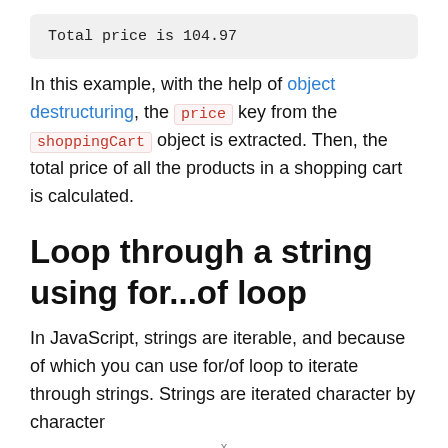[Figure (screenshot): Code output box showing: Total price is 104.97]
In this example, with the help of object destructuring, the price key from the shoppingCart object is extracted. Then, the total price of all the products in a shopping cart is calculated.
Loop through a string using for...of loop
In JavaScript, strings are iterable, and because of which you can use for/of loop to iterate through strings. Strings are iterated character by character